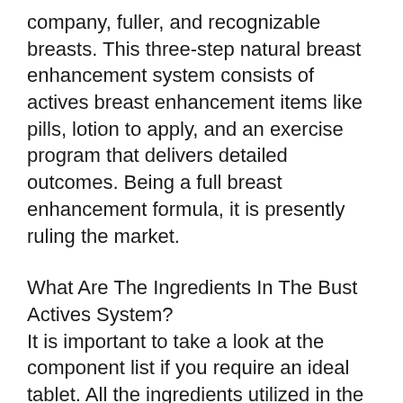company, fuller, and recognizable breasts. This three-step natural breast enhancement system consists of actives breast enhancement items like pills, lotion to apply, and an exercise program that delivers detailed outcomes. Being a full breast enhancement formula, it is presently ruling the market.
What Are The Ingredients In The Bust Actives System?
It is important to take a look at the component list if you require an ideal tablet. All the ingredients utilized in the formulation of the Breast Active system are 100% natural and effective.
Active ingredients in Tablets are